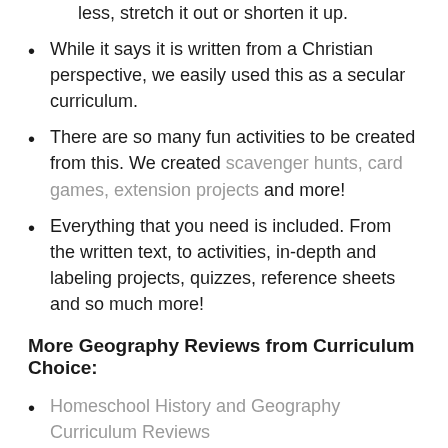less, stretch it out or shorten it up.
While it says it is written from a Christian perspective, we easily used this as a secular curriculum.
There are so many fun activities to be created from this. We created scavenger hunts, card games, extension projects and more!
Everything that you need is included. From the written text, to activities, in-depth and labeling projects, quizzes, reference sheets and so much more!
More Geography Reviews from Curriculum Choice:
Homeschool History and Geography Curriculum Reviews
North Star Geography Review